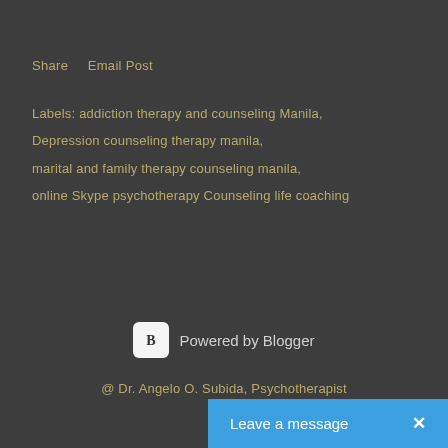Share    Email Post
Labels: addiction therapy and counseling Manila,
Depression counseling therapy manila,
marital and family therapy counseling manila,
online Skype psychotherapy Counseling life coaching
Powered by Blogger
@ Dr. Angelo O. Subida, Psychotherapist
Leave a message  ×